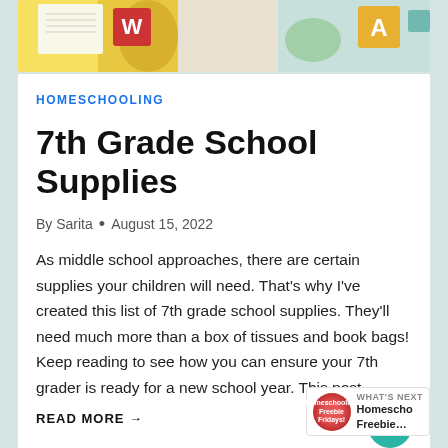[Figure (photo): Header image showing school supplies including colored pencils, letter blocks (A, red block), and a yellow notepad on a light background.]
HOMESCHOOLING
7th Grade School Supplies
By Sarita • August 15, 2022
As middle school approaches, there are certain supplies your children will need. That's why I've created this list of 7th grade school supplies. They'll need much more than a box of tissues and book bags! Keep reading to see how you can ensure your 7th grader is ready for a new school year. This post…
READ MORE →